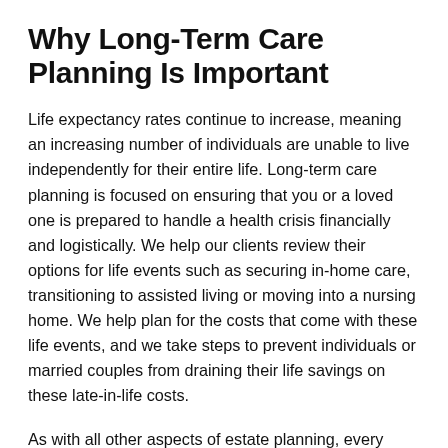Why Long-Term Care Planning Is Important
Life expectancy rates continue to increase, meaning an increasing number of individuals are unable to live independently for their entire life. Long-term care planning is focused on ensuring that you or a loved one is prepared to handle a health crisis financially and logistically. We help our clients review their options for life events such as securing in-home care, transitioning to assisted living or moving into a nursing home. We help plan for the costs that come with these life events, and we take steps to prevent individuals or married couples from draining their life savings on these late-in-life costs.
As with all other aspects of estate planning, every